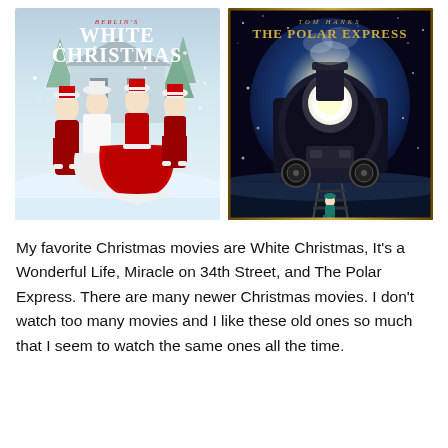[Figure (photo): Two movie poster images side by side: left is 'White Christmas' showing performers in red and white costumes in a snowy scene; right is 'The Polar Express' with Tom Hanks credit, showing a large steam locomotive at night with a small child standing on tracks.]
My favorite Christmas movies are White Christmas, It's a Wonderful Life, Miracle on 34th Street, and The Polar Express. There are many newer Christmas movies. I don't watch too many movies and I like these old ones so much that I seem to watch the same ones all the time.